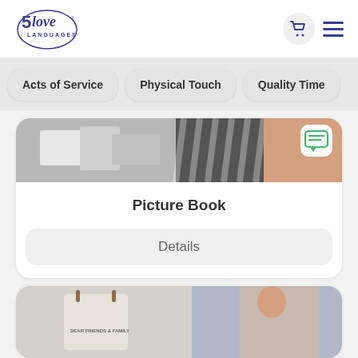[Figure (logo): 5 Love Languages logo with circle and cursive/serif text]
Acts of Service
Physical Touch
Quality Time
[Figure (photo): Product image for Picture Book showing stationery and materials]
Picture Book
Details
[Figure (photo): Partial product image showing a second product card with DEAR FRIENDS & FAMILY text visible]